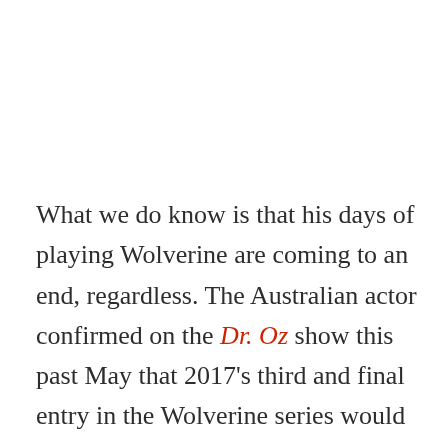What we do know is that his days of playing Wolverine are coming to an end, regardless. The Australian actor confirmed on the Dr. Oz show this past May that 2017's third and final entry in the Wolverine series would be his last time playing the bad ass, clawed mutant. Let's face it, he's played the Wolverine for over a decade now, being the X-Men franchise's biggest draw and notably making the most appearances out of